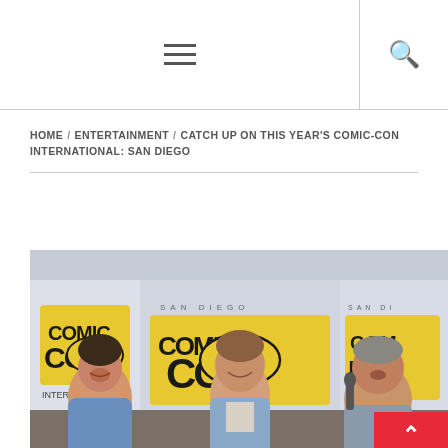≡  🔍
HOME / ENTERTAINMENT / CATCH UP ON THIS YEAR'S COMIC-CON INTERNATIONAL: SAN DIEGO
[Figure (photo): Three men sitting at a Comic-Con International San Diego panel table laughing. The Comic-Con logo and signage is visible in the background. The men appear to be actors/filmmakers at a Blade Runner 2049 panel.]